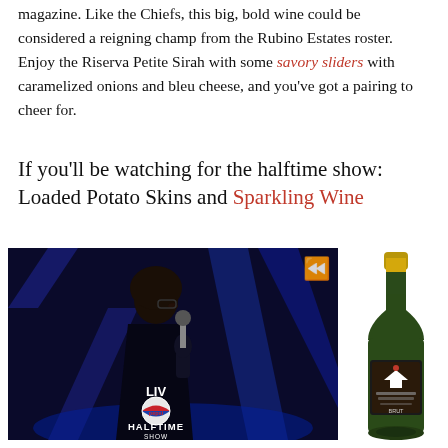magazine. Like the Chiefs, this big, bold wine could be considered a reigning champ from the Rubino Estates roster. Enjoy the Riserva Petite Sirah with some savory sliders with caramelized onions and bleu cheese, and you've got a pairing to cheer for.
If you'll be watching for the halftime show: Loaded Potato Skins and Sparkling Wine
[Figure (photo): Photo of a performer at the Super Bowl LV Pepsi Halftime Show, shown in profile against a blue-lit stage with diagonal light strips. The LV Pepsi Halftime Show logo and 'HALFTIME SHOW' text appear at the bottom. Double rewind arrows icon visible in upper right.]
[Figure (photo): Photo of a dark green sparkling wine bottle with a gold foil top and a dark label with a house/chevron logo and text reading something like 'Rubino Estates' brut.]